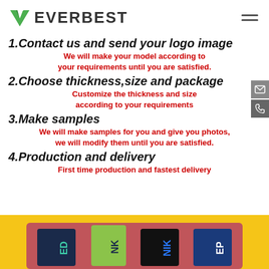[Figure (logo): Everbest company logo with green V-shaped checkmark and bold text EVERBEST]
1.Contact us and send your logo image
We will make your model according to your requirements until you are satisfied.
2.Choose thickness,size and package
Customize the thickness and size according to your requirements
3.Make samples
We will make samples for you and give you photos, we will modify them until you are satisfied.
4.Production and delivery
First time production and fastest delivery
[Figure (photo): Yellow background section with colorful branded wristband cards on a pinkish-red display board]